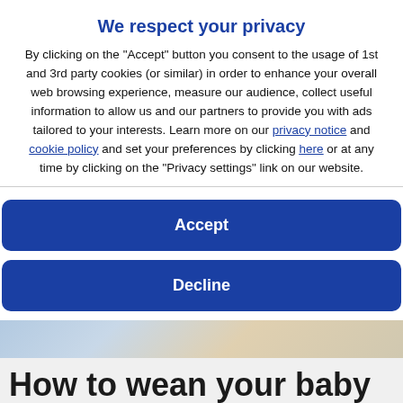We respect your privacy
By clicking on the "Accept" button you consent to the usage of 1st and 3rd party cookies (or similar) in order to enhance your overall web browsing experience, measure our audience, collect useful information to allow us and our partners to provide you with ads tailored to your interests. Learn more on our privacy notice and cookie policy and set your preferences by clicking here or at any time by clicking on the "Privacy settings" link on our website.
Accept
Decline
[Figure (photo): Blurred background photo, partially visible behind the modal overlay]
How to wean your baby